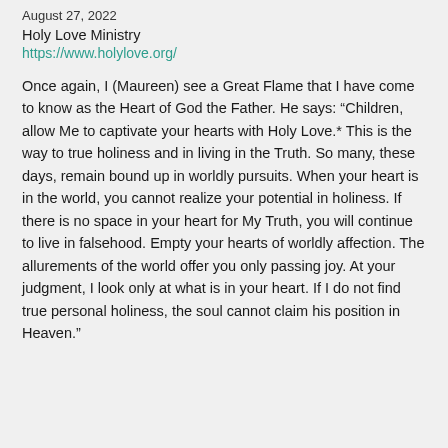August 27, 2022
Holy Love Ministry
https://www.holylove.org/
Once again, I (Maureen) see a Great Flame that I have come to know as the Heart of God the Father. He says: “Children, allow Me to captivate your hearts with Holy Love.* This is the way to true holiness and in living in the Truth. So many, these days, remain bound up in worldly pursuits. When your heart is in the world, you cannot realize your potential in holiness. If there is no space in your heart for My Truth, you will continue to live in falsehood. Empty your hearts of worldly affection. The allurements of the world offer you only passing joy. At your judgment, I look only at what is in your heart. If I do not find true personal holiness, the soul cannot claim his position in Heaven.”